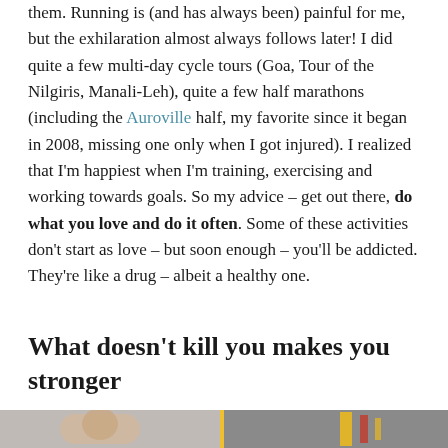them. Running is (and has always been) painful for me, but the exhilaration almost always follows later! I did quite a few multi-day cycle tours (Goa, Tour of the Nilgiris, Manali-Leh), quite a few half marathons (including the Auroville half, my favorite since it began in 2008, missing one only when I got injured). I realized that I'm happiest when I'm training, exercising and working towards goals. So my advice – get out there, do what you love and do it often. Some of these activities don't start as love – but soon enough – you'll be addicted. They're like a drug – albeit a healthy one.
What doesn't kill you makes you stronger
[Figure (photo): Two side-by-side photos at the bottom of the page, partially visible. Left photo shows a person, right photo shows exercise equipment in warm/yellow tones.]